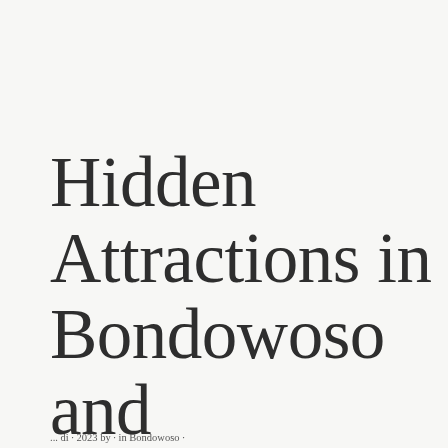Hidden Attractions in Bondowoso and Surrounding Areas
... di ... 2023 by ... in Bondowoso ...